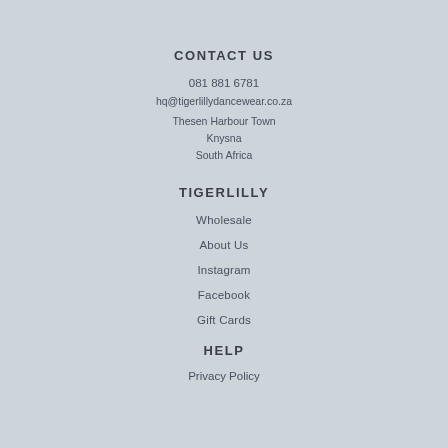CONTACT US
081 881 6781
hq@tigerlillydancewear.co.za
Thesen Harbour Town
Knysna
South Africa
TIGERLILLY
Wholesale
About Us
Instagram
Facebook
Gift Cards
HELP
Privacy Policy